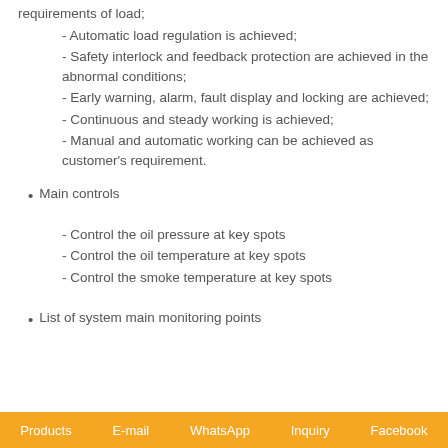requirements of load;
- Automatic load regulation is achieved;
- Safety interlock and feedback protection are achieved in the abnormal conditions;
- Early warning, alarm, fault display and locking are achieved;
- Continuous and steady working is achieved;
- Manual and automatic working can be achieved as customer's requirement.
Main controls
- Control the oil pressure at key spots
- Control the oil temperature at key spots
- Control the smoke temperature at key spots
List of system main monitoring points
Products   E-mail   WhatsApp   Inquiry   Facebook